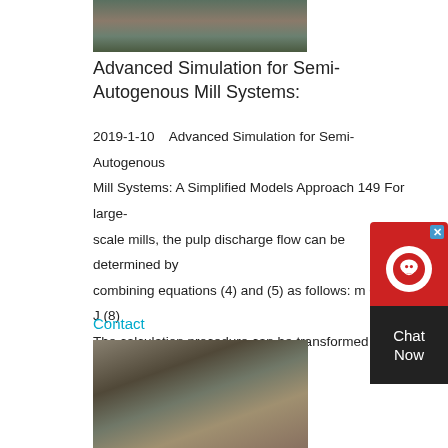[Figure (photo): Industrial mill facility exterior, top photo strip]
Advanced Simulation for Semi-Autogenous Mill Systems:
2019-1-10    Advanced Simulation for Semi-Autogenous Mill Systems: A Simplified Models Approach 149 For large-scale mills, the pulp discharge flow can be determined by combining equations (4) and (5) as follows: m Q d= J (8) The calculation procedure can be transformed in an iterative numerical sequence.
Contact
[Figure (photo): Industrial mineral processing plant with conveyor belts and machinery]